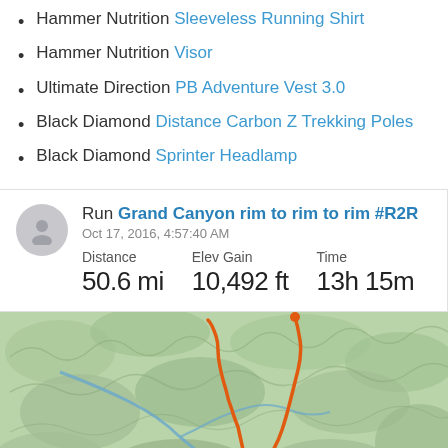Hammer Nutrition Sleeveless Running Shirt
Hammer Nutrition Visor
Ultimate Direction PB Adventure Vest 3.0
Black Diamond Distance Carbon Z Trekking Poles
Black Diamond Sprinter Headlamp
Run Grand Canyon rim to rim to rim #R2R2R — Oct 17, 2016, 4:57:40 AM — Distance: 50.6 mi, Elev Gain: 10,492 ft, Time: 13h 15m
[Figure (map): Topographic map of Grand Canyon showing an orange route line tracing the rim to rim to rim run path through the canyon terrain, with blue river lines and green terrain coloring.]